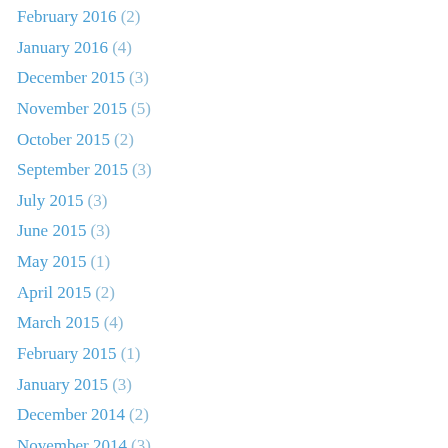February 2016 (2)
January 2016 (4)
December 2015 (3)
November 2015 (5)
October 2015 (2)
September 2015 (3)
July 2015 (3)
June 2015 (3)
May 2015 (1)
April 2015 (2)
March 2015 (4)
February 2015 (1)
January 2015 (3)
December 2014 (2)
November 2014 (3)
October 2014 (1)
September 2014 (3)
August 2014 (5)
July 2014 (4)